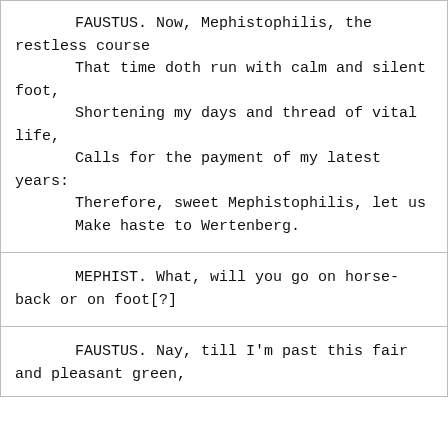FAUSTUS. Now, Mephistophilis, the restless course
    That time doth run with calm and silent foot,
    Shortening my days and thread of vital life,
    Calls for the payment of my latest years:
    Therefore, sweet Mephistophilis, let us
    Make haste to Wertenberg.
MEPHIST. What, will you go on horse-back or on foot[?]
FAUSTUS. Nay, till I'm past this fair and pleasant green,